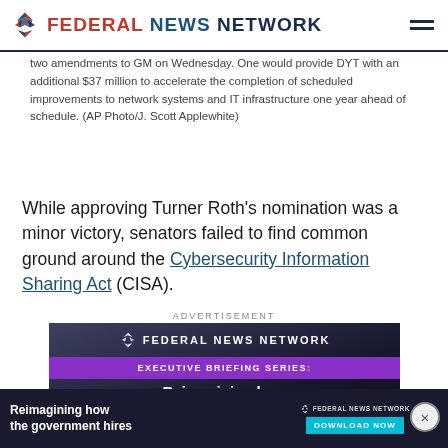FEDERAL NEWS NETWORK
two amendments to GM on Wednesday. One would provide DYT with an additional $37 million to accelerate the completion of scheduled improvements to network systems and IT infrastructure one year ahead of schedule. (AP Photo/J. Scott Applewhite)
While approving Turner Roth’s nomination was a minor victory, senators failed to find common ground around the Cybersecurity Information Sharing Act (CISA).
ADVERTISEMENT
[Figure (screenshot): Federal News Network advertisement banner for Executive Briefing Series: Reimagining how the government hires]
[Figure (screenshot): Bottom banner advertisement: Reimagining how the government hires - Download Now button with Federal News Network logo]